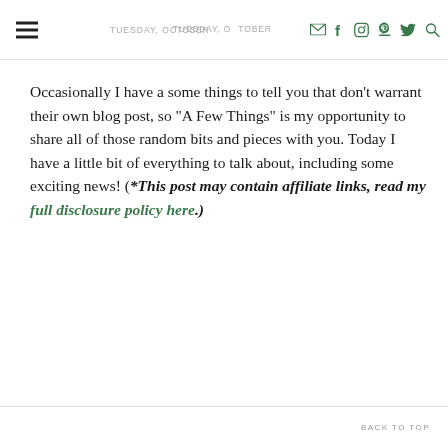TUESDAY, OCTOBER [date] | [nav icons]
Occasionally I have a some things to tell you that don't warrant their own blog post, so "A Few Things" is my opportunity to share all of those random bits and pieces with you.  Today I have a little bit of everything to talk about, including some exciting news! (*This post may contain affiliate links, read my full disclosure policy here.)
BACK TO TOP